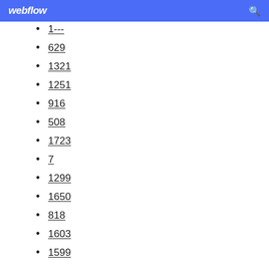webflow
1---
629
1321
1251
916
508
1723
7
1299
1650
818
1603
1599